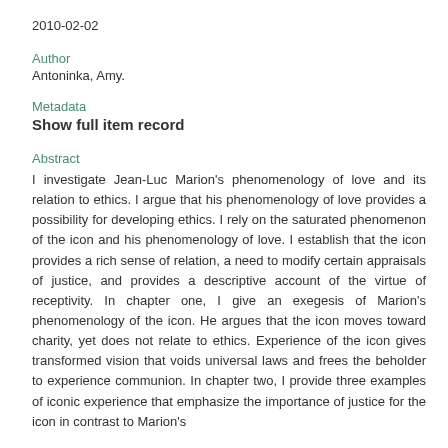2010-02-02
Author
Antoninka, Amy.
Metadata
Show full item record
Abstract
I investigate Jean-Luc Marion's phenomenology of love and its relation to ethics. I argue that his phenomenology of love provides a possibility for developing ethics. I rely on the saturated phenomenon of the icon and his phenomenology of love. I establish that the icon provides a rich sense of relation, a need to modify certain appraisals of justice, and provides a descriptive account of the virtue of receptivity. In chapter one, I give an exegesis of Marion's phenomenology of the icon. He argues that the icon moves toward charity, yet does not relate to ethics. Experience of the icon gives transformed vision that voids universal laws and frees the beholder to experience communion. In chapter two, I provide three examples of iconic experience that emphasize the importance of justice for the icon in contrast to Marion's